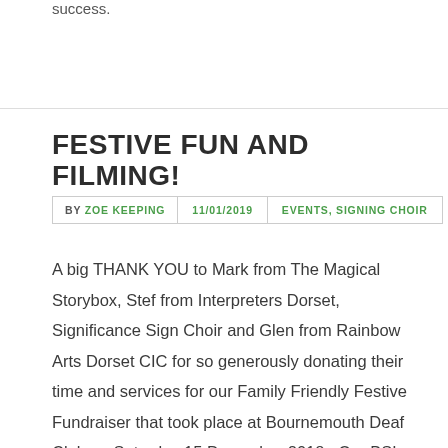success.
FESTIVE FUN AND FILMING!
BY ZOE KEEPING  11/01/2019  EVENTS, SIGNING CHOIR
A big THANK YOU to Mark from The Magical Storybox, Stef from Interpreters Dorset, Significance Sign Choir and Glen from Rainbow Arts Dorset CIC for so generously donating their time and services for our Family Friendly Festive Fundraiser that took place at Bournemouth Deaf Club on Saturday 15 December 2018.  Our BSL interpreted magic show went down a treat with children and adults alike and the little ones loved the Christmassy glitter  tattoos!